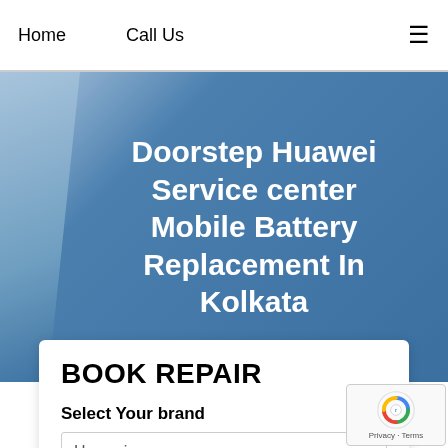Home   Call Us   ≡
Doorstep Huawei Service center Mobile Battery Replacement In Kolkata
BOOK REPAIR
Select Your brand
Huawei
Select the Model